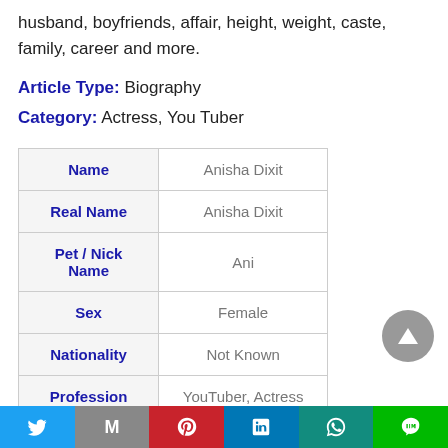husband, boyfriends, affair, height, weight, caste, family, career and more.
Article Type: Biography
Category: Actress, You Tuber
| Name | Value |
| --- | --- |
| Name | Anisha Dixit |
| Real Name | Anisha Dixit |
| Pet / Nick Name | Ani |
| Sex | Female |
| Nationality | Not Known |
| Profession | YouTuber, Actress |
[Figure (other): Scroll to top button (grey circle with upward triangle arrow)]
Twitter | Gmail | Pinterest | LinkedIn | WhatsApp | Line social share buttons